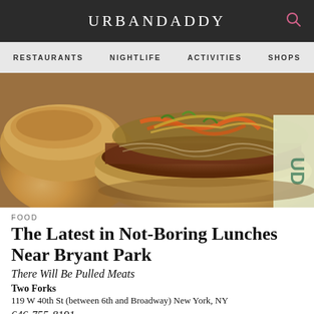URBANDADDY
RESTAURANTS   NIGHTLIFE   ACTIVITIES   SHOPS
[Figure (photo): Close-up photo of an open burger/sandwich with pulled meat, colorful slaw, and orange sauce on a bun, placed on branded paper.]
FOOD
The Latest in Not-Boring Lunches Near Bryant Park
There Will Be Pulled Meats
Two Forks
119 W 40th St (between 6th and Broadway) New York, NY
646-755-8191
FOOD
Dirty Bird